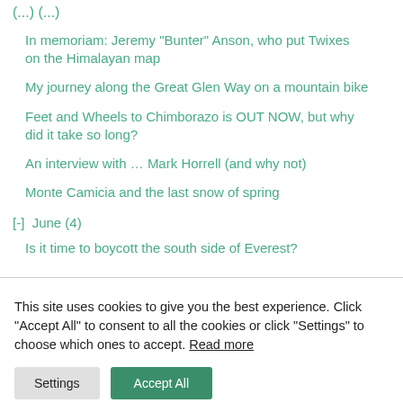(...)(...)
In memoriam: Jeremy "Bunter" Anson, who put Twixes on the Himalayan map
My journey along the Great Glen Way on a mountain bike
Feet and Wheels to Chimborazo is OUT NOW, but why did it take so long?
An interview with … Mark Horrell (and why not)
Monte Camicia and the last snow of spring
[-]  June (4)
Is it time to boycott the south side of Everest?
This site uses cookies to give you the best experience. Click "Accept All" to consent to all the cookies or click "Settings" to choose which ones to accept. Read more
Settings | Accept All